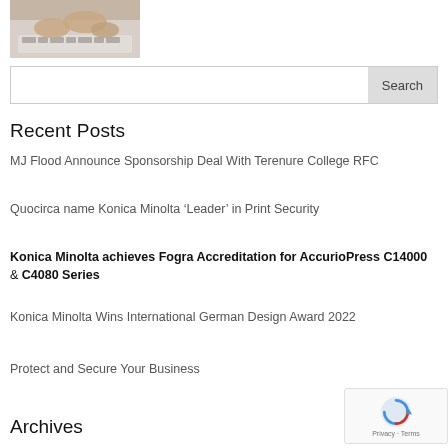[Figure (photo): Hands typing on a laptop keyboard, partial view from above.]
Search
Recent Posts
MJ Flood Announce Sponsorship Deal With Terenure College RFC
Quocirca name Konica Minolta ‘Leader’ in Print Security
Konica Minolta achieves Fogra Accreditation for AccurioPress C14000 & C4080 Series
Konica Minolta Wins International German Design Award 2022
Protect and Secure Your Business
Archives